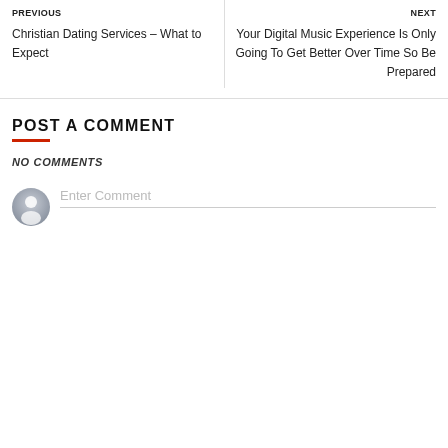PREVIOUS
Christian Dating Services – What to Expect
NEXT
Your Digital Music Experience Is Only Going To Get Better Over Time So Be Prepared
POST A COMMENT
NO COMMENTS
[Figure (other): User avatar placeholder circle icon with person silhouette, grey tones]
Enter Comment